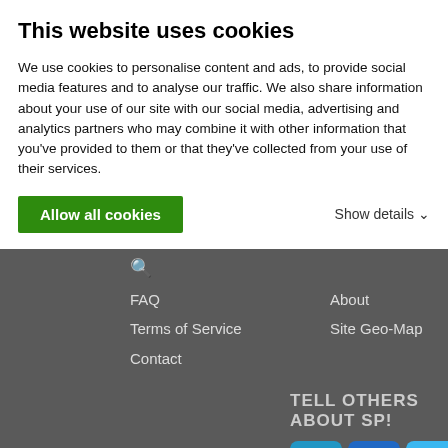This website uses cookies
We use cookies to personalise content and ads, to provide social media features and to analyse our traffic. We also share information about your use of our site with our social media, advertising and analytics partners who may combine it with other information that you've provided to them or that they've collected from your use of their services.
Allow all cookies
Show details
FAQ
Terms of Service
Contact
About
Site Geo-Map
TELL OTHERS ABOUT SP!
[Figure (infographic): Three social sharing buttons: a blue plus button, a blue Facebook 'f' button, and a light blue Twitter bird button]
"Smokey, this is not 'Nam. This is bowling. There are rules."  –Walter Sobchack
© 2006-2021 SummitPost.org. All Rights Reserved.